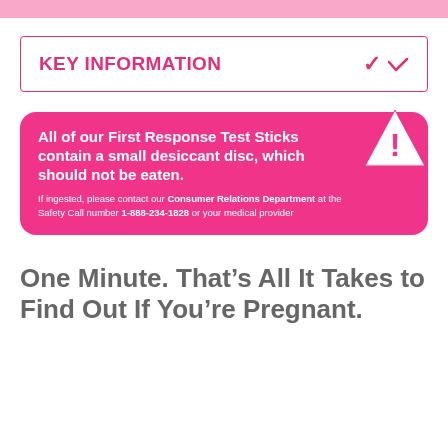KEY INFORMATION
All of our First Response Test Sticks contain a small desiccant disc, which should not be eaten. If ingested, please contact our Consumer Relations Department at the Safety Call number 1-888-234-1828 or your medical provider
One Minute. That’s All It Takes to Find Out If You’re Pregnant.